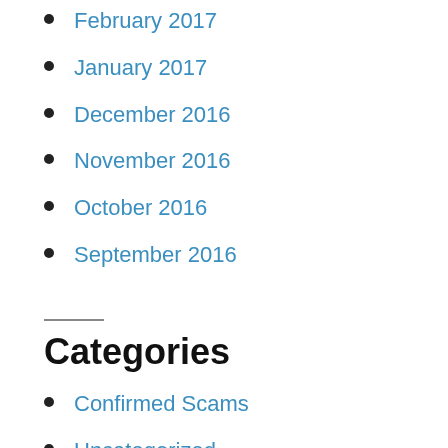February 2017
January 2017
December 2016
November 2016
October 2016
September 2016
Categories
Confirmed Scams
Uncategorized